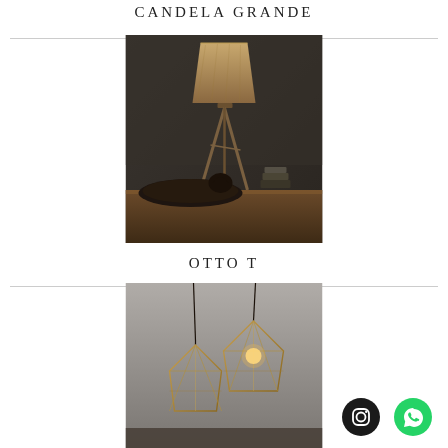CANDELA GRANDE
[Figure (photo): Table lamp with large beige cylindrical linen shade on a metal tripod base, placed on a wooden surface with dark decorative bowl and books, against a dark textured wall]
OTTO T
[Figure (photo): Two pendant lights with geometric wire cage shades in gold/copper finish, hanging against a grey background, one with exposed Edison bulb]
[Figure (logo): Instagram icon button - black circle with white Instagram camera logo]
[Figure (logo): WhatsApp icon button - green circle with white WhatsApp phone logo]